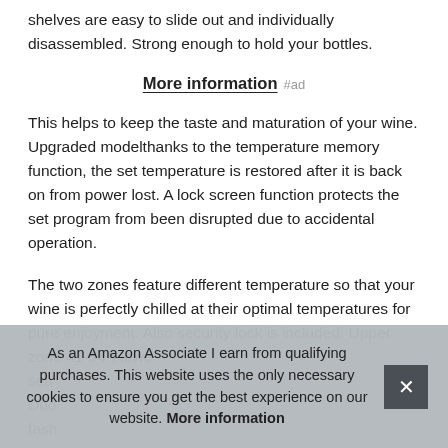shelves are easy to slide out and individually disassembled. Strong enough to hold your bottles.
More information #ad
This helps to keep the taste and maturation of your wine. Upgraded modelthanks to the temperature memory function, the set temperature is restored after it is back on from power lost. A lock screen function protects the set program from been disrupted due to accidental operation.
The two zones feature different temperature so that your wine is perfectly chilled at their optimal temperatures for pure enjoyment. Also security lock is included. Upper zone 41-54°f lower sea Doo fash or restaurants.
As an Amazon Associate I earn from qualifying purchases. This website uses the only necessary cookies to ensure you get the best experience on our website. More information